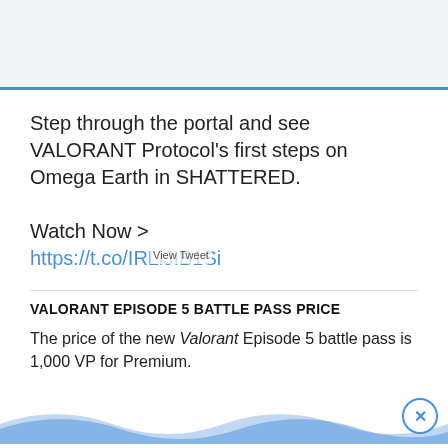Step through the portal and see VALORANT Protocol's first steps on Omega Earth in SHATTERED.

Watch Now >
https://t.co/IRLiJIB1Si
VALORANT EPISODE 5 BATTLE PASS PRICE
The price of the new Valorant Episode 5 battle pass is 1,000 VP for Premium.